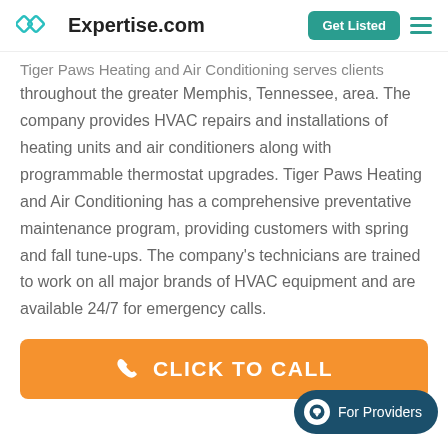Expertise.com | Get Listed
Tiger Paws Heating and Air Conditioning serves clients throughout the greater Memphis, Tennessee, area. The company provides HVAC repairs and installations of heating units and air conditioners along with programmable thermostat upgrades. Tiger Paws Heating and Air Conditioning has a comprehensive preventative maintenance program, providing customers with spring and fall tune-ups. The company's technicians are trained to work on all major brands of HVAC equipment and are available 24/7 for emergency calls.
CLICK TO CALL
For Providers